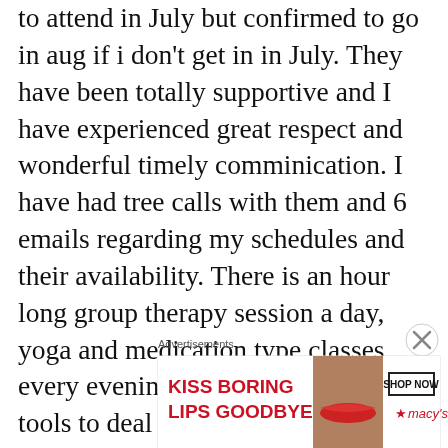to attend in July but confirmed to go in aug if i don't get in in July. They have been totally supportive and I have experienced great respect and wonderful timely comminication. I have had tree calls with them and 6 emails regarding my schedules and their availability. There is an hour long group therapy session a day, yoga and medication type classes every evening, classes regarding tools to deal with resoetivie sleep and managing
[Figure (other): Advertisement banner for Macy's lip products with text 'KISS BORING LIPS GOODBYE' and 'SHOP NOW' button with Macy's star logo]